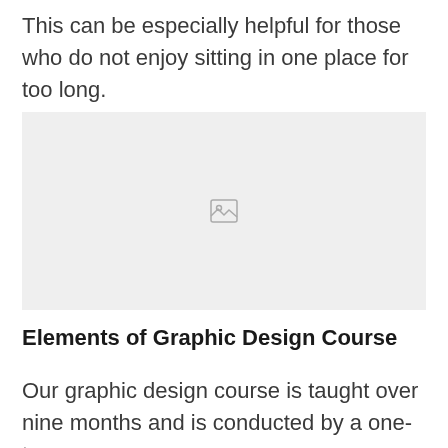This can be especially helpful for those who do not enjoy sitting in one place for too long.
[Figure (photo): Placeholder image (broken image icon) with light gray background]
Elements of Graphic Design Course
Our graphic design course is taught over nine months and is conducted by a one-to-one